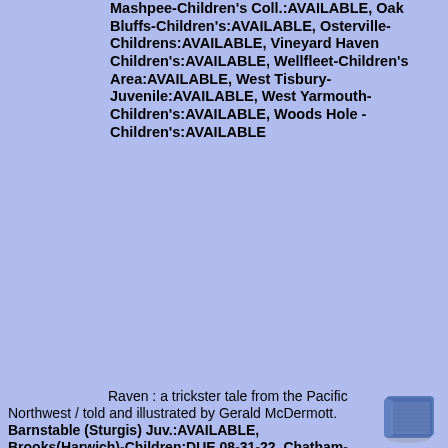Mashpee-Children's Coll.:AVAILABLE, Oak Bluffs-Children's:AVAILABLE, Osterville-Childrens:AVAILABLE, Vineyard Haven Children's:AVAILABLE, Wellfleet-Children's Area:AVAILABLE, West Tisbury-Juvenile:AVAILABLE, West Yarmouth-Children's:AVAILABLE, Woods Hole - Children's:AVAILABLE
Raven : a trickster tale from the Pacific Northwest / told and illustrated by Gerald McDermott. Barnstable (Sturgis) Juv.:AVAILABLE, Brooks(Harwich)-Children:DUE 08-31-22, Chatham-Children's Coll.:AVAILABLE, Chilmark Juv Collection:AVAILABLE, E Dennis (Sears)-Juvenile:AVAILABLE, Edgartown-Children Coll.:AVAILABLE, Falmouth-Children's Room:AVAILABLE, Hyannis Children's Room:AVAILABLE, Marstons Mills-Children's:AVAILABLE, Mashpee-Children's Coll.:AVAILABLE, Orleans-Children's Room:AVAILABLE, Osterville-Childrens:AVAILABLE,
c1993